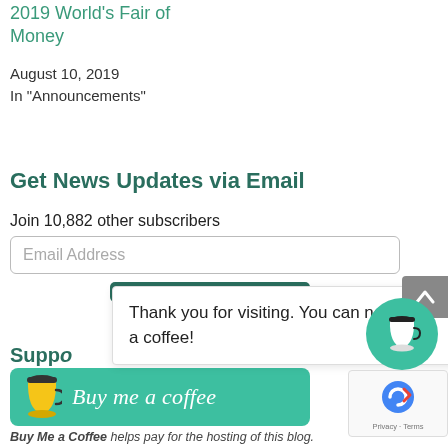2019 World's Fair of Money
August 10, 2019
In "Announcements"
Get News Updates via Email
Join 10,882 other subscribers
[Figure (other): Email address input field with placeholder text 'Email Address']
[Figure (other): Subscribe button (dark green/teal)]
Thank you for visiting. You can now buy me a coffee!
Suppo
[Figure (other): Buy me a coffee button - teal background with coffee cup icon and italic text 'Buy me a coffee']
[Figure (other): Teal circle with coffee cup icon (floating button)]
[Figure (other): Gray scroll-to-top button with up arrow]
[Figure (other): reCAPTCHA widget showing Privacy and Terms]
Buy Me a Coffee helps pay for the hosting of this blog.